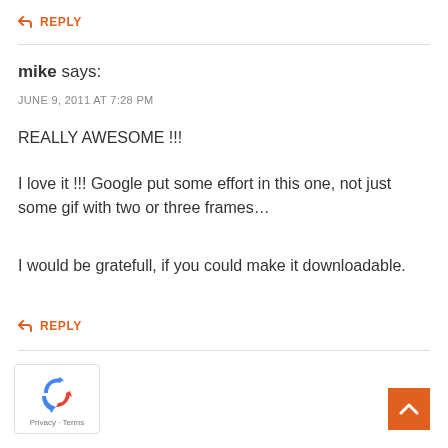REPLY
mike says:
JUNE 9, 2011 AT 7:28 PM
REALLY AWESOME !!!
I love it !!! Google put some effort in this one, not just some gif with two or three frames…
I would be gratefull, if you could make it downloadable.
REPLY
[Figure (logo): reCAPTCHA logo with Privacy and Terms links]
[Figure (other): Orange back-to-top button with upward arrow chevron]